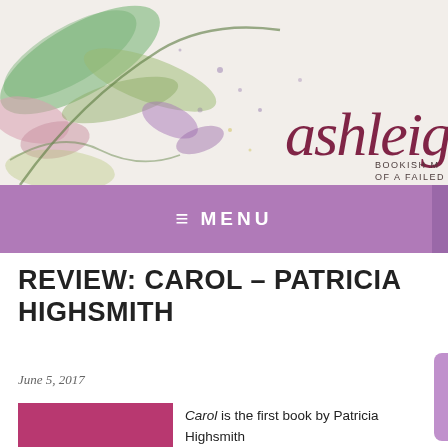[Figure (illustration): Blog header banner with watercolor botanical illustration (leaves, flowers in green, pink, purple) on the left side, and cursive script blog title 'ashleigh's b' with subtitle 'BOOKISH [M] / OF A FAILED' on the right, on a light background.]
≡ MENU
REVIEW: CAROL – PATRICIA HIGHSMITH
June 5, 2017
[Figure (photo): Book cover of 'Carol' by Patricia Highsmith — dark pink/magenta background with large bold black text 'PATRICIA' visible.]
Carol is the first book by Patricia Highsmith